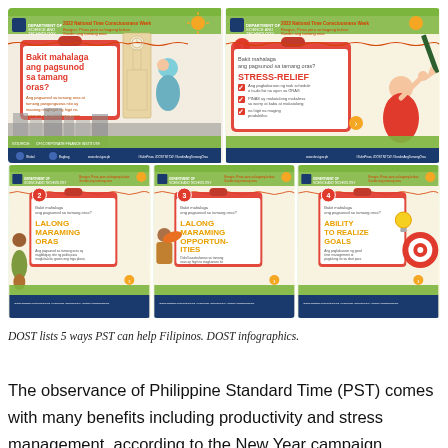[Figure (infographic): DOST (Department of Science and Technology) infographics showing 5 ways PST (Philippine Standard Time) can help Filipinos. Top row has two panels: left panel titled 'Bakit mahalaga ang pagsunod sa tamang oras?' with text about following correct time making days efficient and productive; right panel numbered 1 showing 'Bakit mahalaga ang pagsunod sa tamang oras?' with heading STRESS-RELIEF and checklist items about task schedule aligned with ORAS PINAS reducing worry and increasing productivity. Bottom row has three panels: panel 2 LALONG MARAMING ORAS, panel 3 LALONG MARAMING OPPORTUNITIES, panel 4 ABILITY TO REALIZE GOALS. All panels feature colorful illustrated characters and DOST branding.]
DOST lists 5 ways PST can help Filipinos. DOST infographics.
The observance of Philippine Standard Time (PST) comes with many benefits including productivity and stress management, according to the New Year campaign initiated